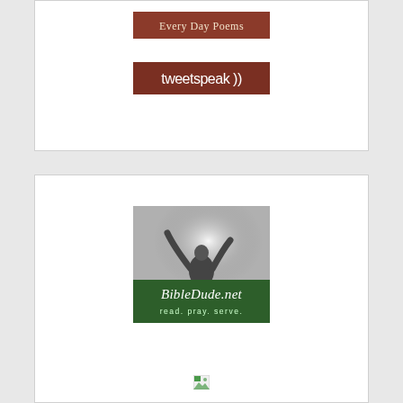[Figure (illustration): Banner image for Every Day Poems with red/brown background and white serif text reading 'Every Day Poems']
[Figure (illustration): Banner image for Tweetspeak with dark red background and white sans-serif text reading 'tweetspeak ))']
[Figure (illustration): Square banner for BibleDude.net showing a grayscale photo of a person with raised hands and a green overlay banner with white script text reading 'BibleDude.net read. pray. serve.']
[Figure (illustration): Broken/missing image placeholder icon]